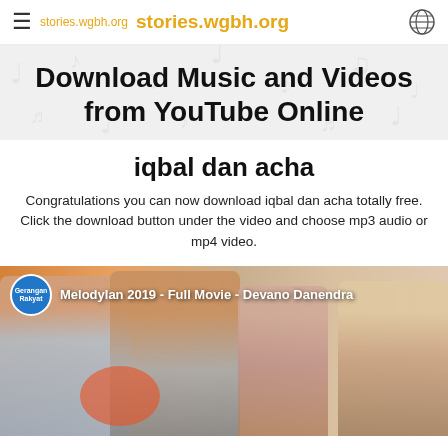stories.wgbh.org  stories.wgbh.org
Download Music and Videos from YouTube Online
iqbal dan acha
Congratulations you can now download iqbal dan acha totally free. Click the download button under the video and choose mp3 audio or mp4 video.
[Figure (screenshot): Video thumbnail showing Melodylan 2019 - Full Movie - Devano Danendra, with young Indonesian actors/actresses, channel avatar showing Gerangan Rakyat]